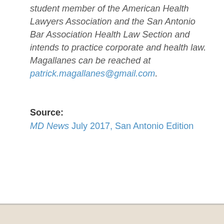student member of the American Health Lawyers Association and the San Antonio Bar Association Health Law Section and intends to practice corporate and health law. Magallanes can be reached at patrick.magallanes@gmail.com.
Source: MD News July 2017, San Antonio Edition